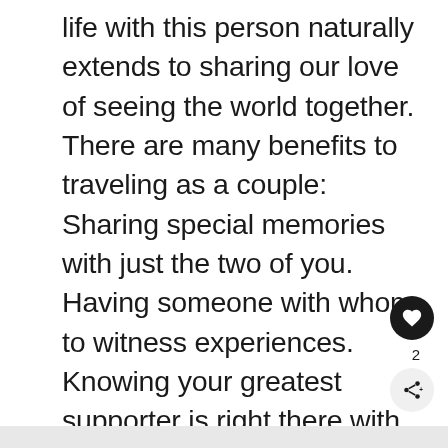life with this person naturally extends to sharing our love of seeing the world together. There are many benefits to traveling as a couple: Sharing special memories with just the two of you. Having someone with whom to witness experiences. Knowing your greatest supporter is right there with you, every step of the journey. Traveling with friends brings a lot of these benefits, but traveling as a couple is special.